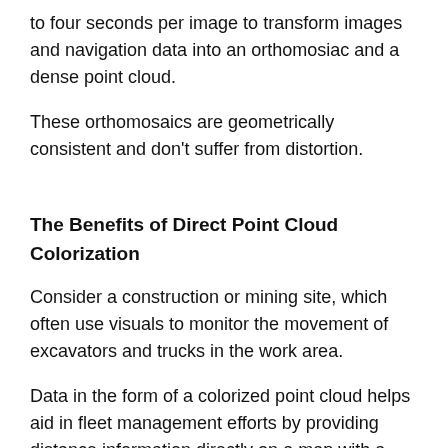to four seconds per image to transform images and navigation data into an orthomosiac and a dense point cloud.
These orthomosaics are geometrically consistent and don't suffer from distortion.
The Benefits of Direct Point Cloud Colorization
Consider a construction or mining site, which often use visuals to monitor the movement of excavators and trucks in the work area.
Data in the form of a colorized point cloud helps aid in fleet management efforts by providing distance information directly on a map with a more informative 3D visual. Indirect colorization can lead to confusion and inaccuracy, which these operations can't afford.
It allows surveyors to more easily identify and distinguishing their